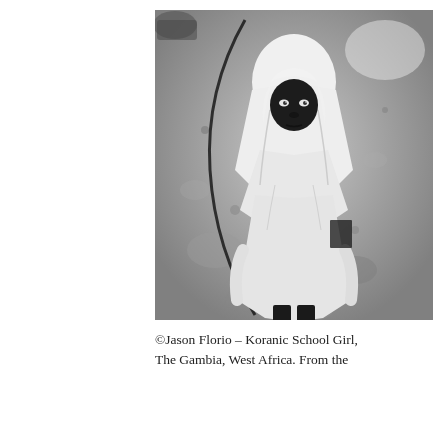[Figure (photo): Black and white photograph taken from above, showing a young girl wearing a white hijab/veil draped over her head and shoulders, looking up at the camera. She is standing against a textured concrete or dirt ground. A dark curved wire or rope is visible around her. The photo has high contrast with deep blacks and bright whites.]
©Jason Florio – Koranic School Girl, The Gambia, West Africa. From the